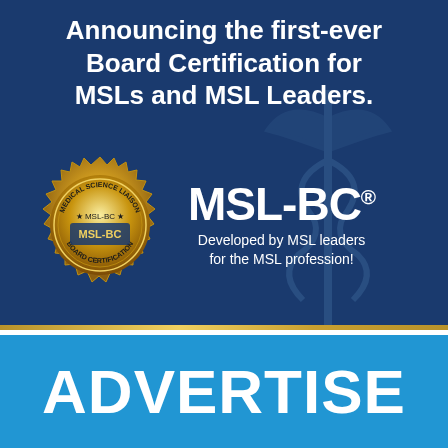Announcing the first-ever Board Certification for MSLs and MSL Leaders.
[Figure (illustration): Gold seal badge with text MEDICAL SCIENCE LIAISON MSL-BC BOARD CERTIFICATION surrounding the center text MSL-BC with a star on each side]
MSL-BC® Developed by MSL leaders for the MSL profession!
ADVERTISE